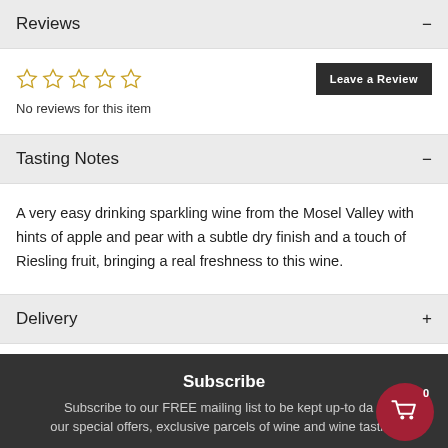Reviews
[Figure (other): Five empty star rating icons in gold outline]
No reviews for this item
Tasting Notes
A very easy drinking sparkling wine from the Mosel Valley with hints of apple and pear with a subtle dry finish and a touch of Riesling fruit, bringing a real freshness to this wine.
Delivery
Subscribe
Subscribe to our FREE mailing list to be kept up-to date our special offers, exclusive parcels of wine and wine tasting